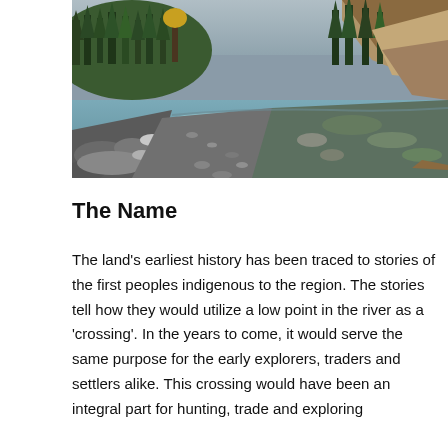[Figure (photo): A landscape photograph of a rocky mountain river with clear shallow water, large stones and pebbles along the banks, dense coniferous forest on the slopes, and a rocky hillside visible in the background under a cloudy sky.]
The Name
The land's earliest history has been traced to stories of the first peoples indigenous to the region. The stories tell how they would utilize a low point in the river as a 'crossing'. In the years to come, it would serve the same purpose for the early explorers, traders and settlers alike. This crossing would have been an integral part for hunting, trade and exploring